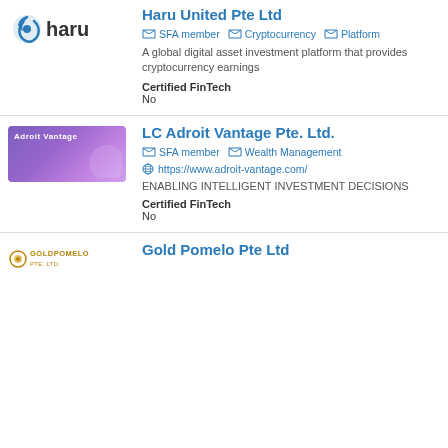[Figure (logo): Haru logo with gear icon and 'haru' text]
Haru United Pte Ltd
SFA member · Cryptocurrency · Platform
A global digital asset investment platform that provides cryptocurrency earnings
Certified FinTech
No
[Figure (logo): LC Adroit Vantage banner logo with purple gradient background]
LC Adroit Vantage Pte. Ltd.
SFA member · Wealth Management
https://www.adroit-vantage.com/
ENABLING INTELLIGENT INVESTMENT DECISIONS
Certified FinTech
No
[Figure (logo): Gold Pomelo Pte Ltd logo]
Gold Pomelo Pte Ltd